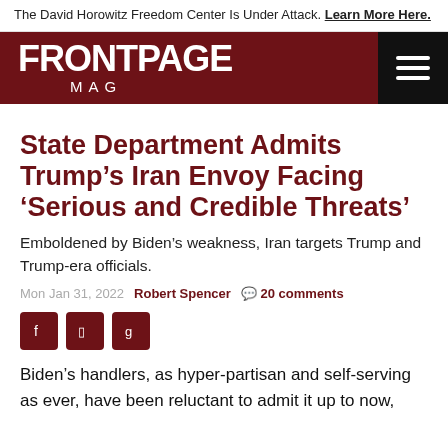The David Horowitz Freedom Center Is Under Attack. Learn More Here.
FRONTPAGE MAG
State Department Admits Trump’s Iran Envoy Facing ‘Serious and Credible Threats’
Emboldened by Biden’s weakness, Iran targets Trump and Trump-era officials.
Mon Jan 31, 2022   Robert Spencer   20 comments
Biden’s handlers, as hyper-partisan and self-serving as ever, have been reluctant to admit it up to now,